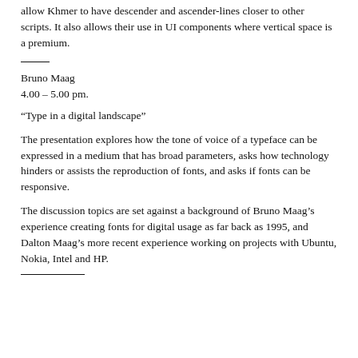allow Khmer to have descender and ascender-lines closer to other scripts. It also allows their use in UI components where vertical space is a premium.
Bruno Maag
4.00 – 5.00 pm.
“Type in a digital landscape”
The presentation explores how the tone of voice of a typeface can be expressed in a medium that has broad parameters, asks how technology hinders or assists the reproduction of fonts, and asks if fonts can be responsive.
The discussion topics are set against a background of Bruno Maag’s experience creating fonts for digital usage as far back as 1995, and Dalton Maag’s more recent experience working on projects with Ubuntu, Nokia, Intel and HP.